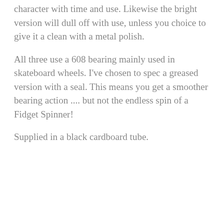character with time and use. Likewise the bright version will dull off with use, unless you choice to give it a clean with a metal polish.
All three use a 608 bearing mainly used in skateboard wheels. I've chosen to spec a greased version with a seal. This means you get a smoother bearing action .... but not the endless spin of a Fidget Spinner!
Supplied in a black cardboard tube.
CUSTOMER REVIEWS
Based on 1 review Write a review